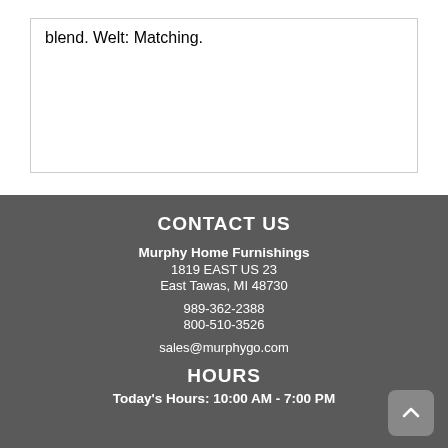blend. Welt: Matching.
CONTACT US
Murphy Home Furnishings
1819 EAST US 23
East Tawas, MI 48730
989-362-2388
800-510-3526
sales@murphygo.com
HOURS
Today's Hours: 10:00 AM - 7:00 PM